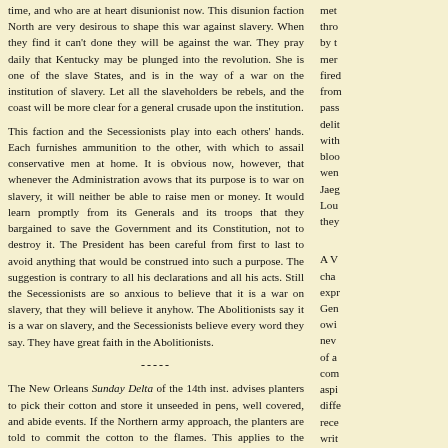time, and who are at heart disunionist now. This disunion faction North are very desirous to shape this war against slavery. When they find it can't done they will be against the war. They pray daily that Kentucky may be plunged into the revolution. She is one of the slave States, and is in the way of a war on the institution of slavery. Let all the slaveholders be rebels, and the coast will be more clear for a general crusade upon the institution.
This faction and the Secessionists play into each others' hands. Each furnishes ammunition to the other, with which to assail conservative men at home. It is obvious now, however, that whenever the Administration avows that its purpose is to war on slavery, it will neither be able to raise men or money. It would learn promptly from its Generals and its troops that they bargained to save the Government and its Constitution, not to destroy it. The President has been careful from first to last to avoid anything that would be construed into such a purpose. The suggestion is contrary to all his declarations and all his acts. Still the Secessionists are so anxious to believe that it is a war on slavery, that they will believe it anyhow. The Abolitionists say it is a war on slavery, and the Secessionists believe every word they say. They have great faith in the Abolitionists.
-----
The New Orleans Sunday Delta of the 14th inst. advises planters to pick their cotton and store it unseeded in pens, well covered, and abide events. If the Northern army approach, the planters are told to commit the cotton to the flames. This applies to the present crop. In relation to future crops, they are to prepare to reduce the product of cotton to a very low figure, and devote their labor and land to other productions which will be needed for consumption during the war, and to act on the presumption that the contest is to be a protracted one.
met thro by t mer fired from pass deli with bloo wen Jaeg Lou they
A V cha exp Gen owi nev of a com aspi diff rece writ